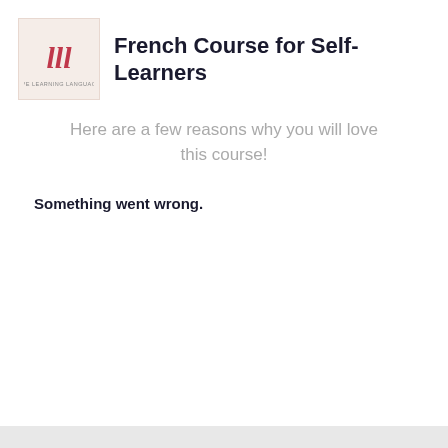[Figure (logo): Love Learning Languages logo: stylized cursive LLL letters in red/pink on a light pinkish-beige background]
French Course for Self-Learners
Here are a few reasons why you will love this course!
Something went wrong.